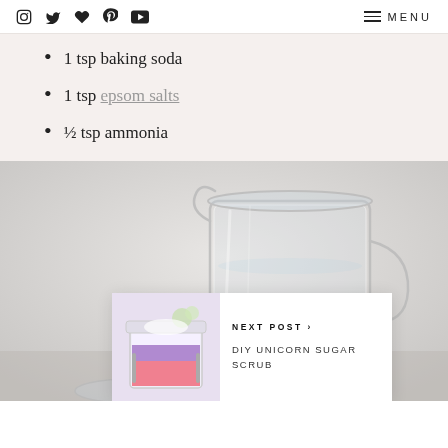Social icons and MENU navigation
1 tsp baking soda
1 tsp epsom salts
½ tsp ammonia
[Figure (photo): Glass pitcher/measuring cup on light grey background, with a smaller inset card showing a jar of colorful sugar scrub]
NEXT POST ›
DIY UNICORN SUGAR SCRUB